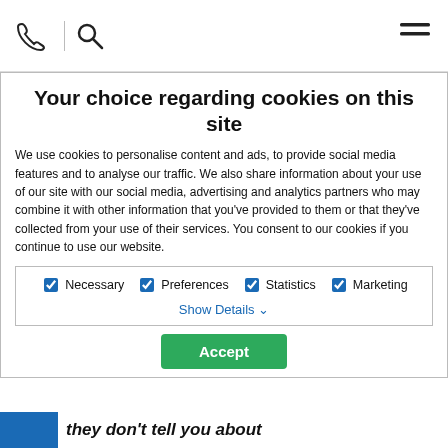[Figure (screenshot): Top navigation bar with phone icon, search icon on left and hamburger menu icon on right]
[Figure (logo): Wolferstans solicitors logo with green and blue arrow shapes]
Your choice regarding cookies on this site
We use cookies to personalise content and ads, to provide social media features and to analyse our traffic. We also share information about your use of our site with our social media, advertising and analytics partners who may combine it with other information that you've provided to them or that they've collected from your use of their services. You consent to our cookies if you continue to use our website.
Necessary  Preferences  Statistics  Marketing
Show Details ˅
Accept
they don't tell you about